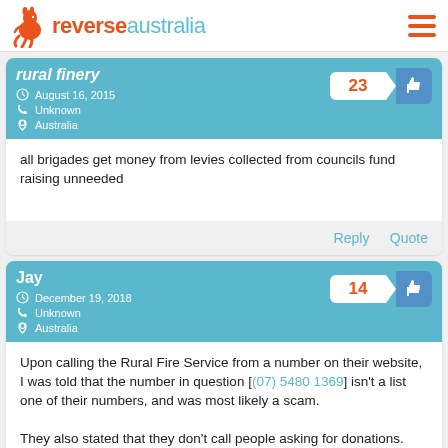[Figure (logo): Reverse Australia logo with kangaroo icon and text]
rural finery
August 16, 2015
Unknown
Australia
23 likes
all brigades get money from levies collected from councils fund raising unneeded
Reply  Quote
Jay
December 19, 2018
Unknown
Australia
14 likes
Upon calling the Rural Fire Service from a number on their website, I was told that the number in question [(07) 5480 1369] isn't a list one of their numbers, and was most likely a scam.

They also stated that they don't call people asking for donations. They get funds from levies, which are collected through local councils.